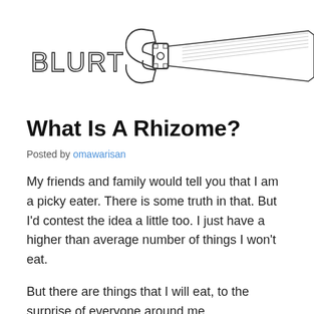[Figure (illustration): Header illustration showing the word BLURT in hand-drawn letters alongside a drawing of a wrench or clamp tool on a white background]
What Is A Rhizome?
Posted by omawarisan
My friends and family would tell you that I am a picky eater. There is some truth in that. But I’d contest the idea a little too. I just have a higher than average number of things I won’t eat.
But there are things that I will eat, to the surprise of everyone around me.
For instance, just the other night, my wife and I had dinner with another couple. We met at a Thai restaurant because